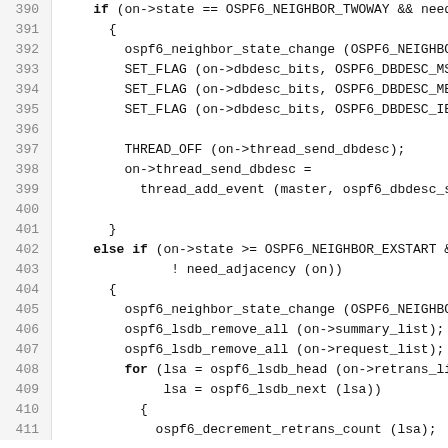[Figure (screenshot): Source code listing showing lines 390-411 of a C program implementing OSPF6 neighbor state machine logic, with line numbers on the left and code on the right in monospace font.]